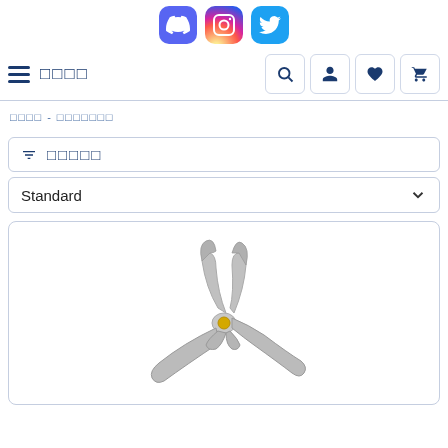[Figure (illustration): Three social media icons in a row: Discord (blue/purple speech bubble), Instagram (gradient camera), Twitter (blue bird)]
☰ □□□□   🔍 👤 ♥ 🛒
□□□□ - □□□□□□□
▼ □□□□□
Standard ∨
[Figure (photo): A silver metallic pliers/crimping tool with a yellow bolt/pivot, on white background]